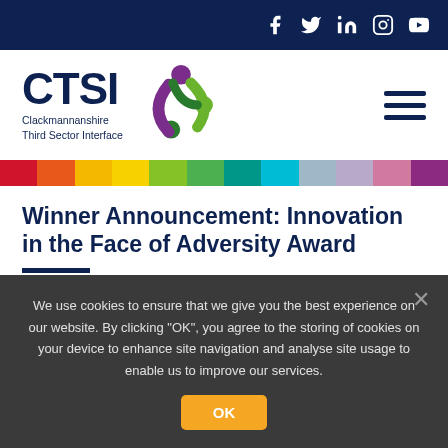Social media icons: Facebook, Twitter, LinkedIn, Instagram, YouTube
[Figure (logo): CTSI Clackmannanshire Third Sector Interface logo with colourful figure icons and dark blue CTSI text]
[Figure (infographic): Multicolour horizontal strip with red, orange, yellow, green, light green, teal, blue, cyan, grey, pink, and purple segments]
Winner Announcement: Innovation in the Face of Adversity Award
We use cookies to ensure that we give you the best experience on our website. By clicking "OK", you agree to the storing of cookies on your device to enhance site navigation and analyse site usage to enable us to improve our services.